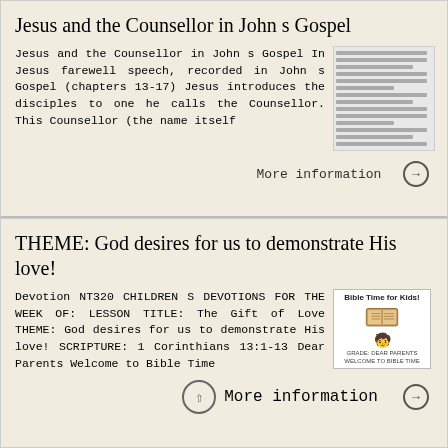Jesus and the Counsellor in John s Gospel
Jesus and the Counsellor in John s Gospel In Jesus farewell speech, recorded in John s Gospel (chapters 13-17) Jesus introduces the disciples to one he calls the Counsellor. This Counsellor (the name itself
[Figure (other): Thumbnail image of a document with lines of text, resembling a scanned page preview.]
More information →
THEME: God desires for us to demonstrate His love!
Devotion NT320 CHILDREN S DEVOTIONS FOR THE WEEK OF: LESSON TITLE: The Gift of Love THEME: God desires for us to demonstrate His love! SCRIPTURE: 1 Corinthians 13:1-13 Dear Parents Welcome to Bible Time
[Figure (illustration): Bible Time for Kids! book cover thumbnail with a book and figure illustration.]
More information →